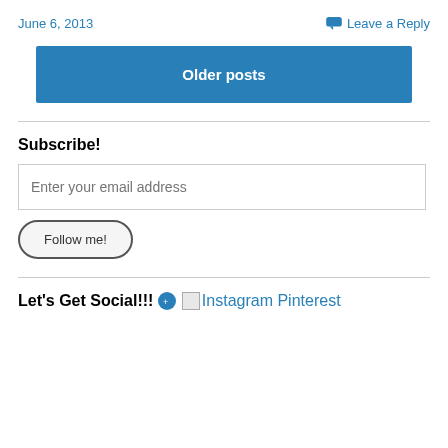June 6, 2013
Leave a Reply
Older posts
Subscribe!
Enter your email address
Follow me!
Let's Get Social!!!
Instagram Pinterest